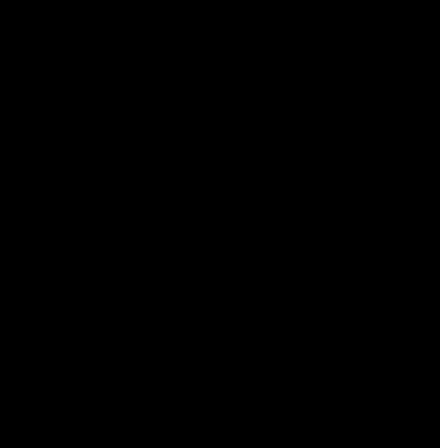CardiorMD on 10/20/17 at 03:25 PM • Permalink for this post • Archived in The legal followups, Sollecito followup, Knox followup,  The wider contexts,  N America context,  Hoaxes Knox & team,  13 AK persona hoax,  14 AK/RS got-on hoax,  Hoaxes Sollecito etc,  25 RS persona hoax,  26 RS/AK got-on hoax,